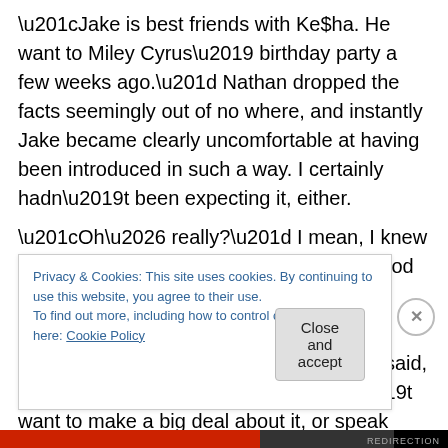“Jake is best friends with Ke$ha. He want to Miley Cyrus’ birthday party a few weeks ago.” Nathan dropped the facts seemingly out of no where, and instantly Jake became clearly uncomfortable at having been introduced in such a way. I certainly hadn’t been expecting it, either.
“Oh… really?” I mean, I knew celebrities were everywhere in LA Hollywood so I tried to play it cool, but Ke$ha was actually a favourite of mine.
“Um… well, yeah,” Jake said, almost sheepishly, as though he didn’t want to make a big deal about it, or speak quite as blatantly as Nathan had. He probably didn’t want
Privacy & Cookies: This site uses cookies. By continuing to use this website, you agree to their use.
To find out more, including how to control cookies, see here: Cookie Policy